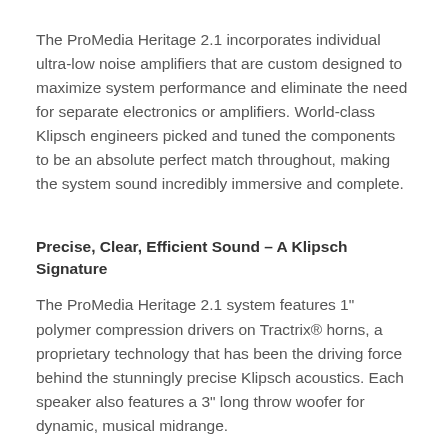The ProMedia Heritage 2.1 incorporates individual ultra-low noise amplifiers that are custom designed to maximize system performance and eliminate the need for separate electronics or amplifiers. World-class Klipsch engineers picked and tuned the components to be an absolute perfect match throughout, making the system sound incredibly immersive and complete.
Precise, Clear, Efficient Sound – A Klipsch Signature
The ProMedia Heritage 2.1 system features 1" polymer compression drivers on Tractrix® horns, a proprietary technology that has been the driving force behind the stunningly precise Klipsch acoustics. Each speaker also features a 3" long throw woofer for dynamic, musical midrange.
Best-In-Class Subwoofer
The best-in-class 8" subwoofer with 100W amplifier means the deep, cinematic bass. The subwoofer includes a rear-firing tube port for an immersive sound experience you can actually feel.